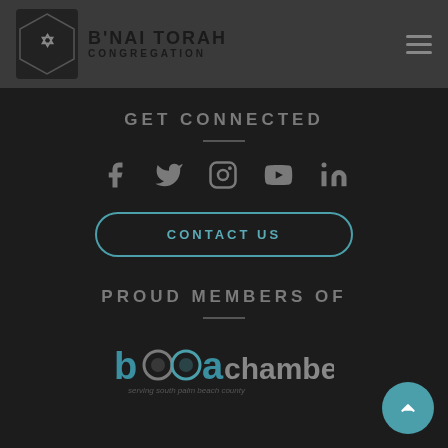B'NAI TORAH CONGREGATION
GET CONNECTED
[Figure (infographic): Row of social media icons: Facebook, Twitter, Instagram, YouTube, LinkedIn]
CONTACT US
PROUD MEMBERS OF
[Figure (logo): Boca chamber logo with text 'boca chamber serving south palm beach county']